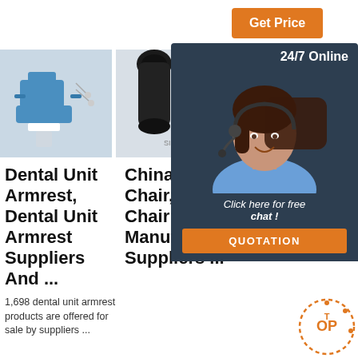Get Price
[Figure (photo): Blue dental chair with accessories on white background]
[Figure (photo): Close-up of microscope lenses on white background]
[Figure (photo): Partial view of dental room interior]
[Figure (infographic): 24/7 Online chat widget with customer service representative photo, 'Click here for free chat!' text, and QUOTATION button]
Dental Unit Armrest, Dental Unit Armrest Suppliers And ...
China Dental Chair, Dental Chair Manufacturers, Suppliers ...
China Dental Chair Manufacturers, Suppliers ...
1,698 dental unit armrest products are offered for sale by suppliers ...